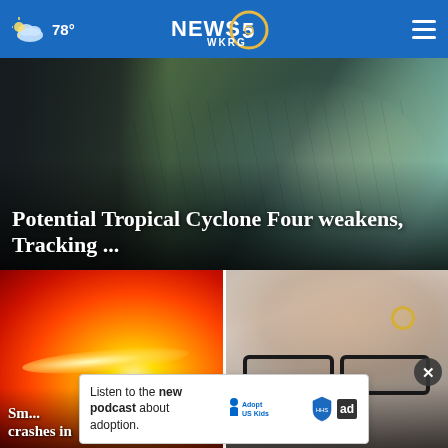78° NEWS 5 WKRG
[Figure (screenshot): Weather map with meteorologist pointing at storm system over southeastern US coast; overlaid text headline]
Potential Tropical Cyclone Four weakens, Tracking ...
[Figure (photo): Orange and red glowing light, likely fire or car headlights]
[Figure (photo): Close-up of person wearing black glasses with hand on forehead wearing a ring]
Sm... crashes in
letter asking
Listen to the new podcast about adoption.
[Figure (logo): Adopt US Kids logo with HHS logo and ad choices icon]